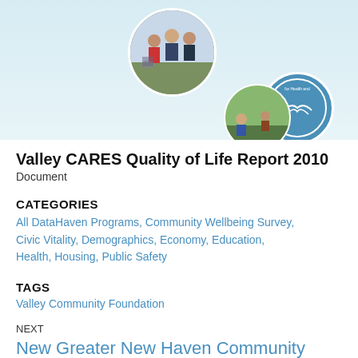[Figure (photo): Header image with circular photo of people/community and circular logo badge on a light blue background]
Valley CARES Quality of Life Report 2010
Document
CATEGORIES
All DataHaven Programs, Community Wellbeing Survey, Civic Vitality, Demographics, Economy, Education, Health, Housing, Public Safety
TAGS
Valley Community Foundation
NEXT
New Greater New Haven Community Index 2019 Examines Regional Well-being and